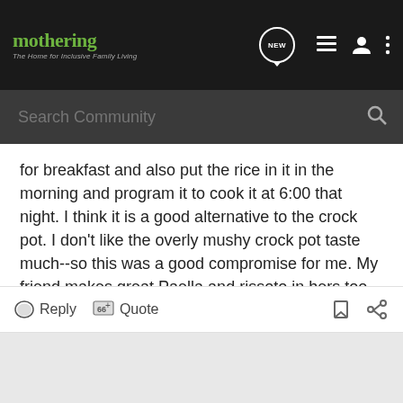[Figure (screenshot): Mothering community website header with logo, NEW badge, list icon, user icon, and three-dot menu icon on dark background]
[Figure (screenshot): Dark grey search bar with 'Search Community' placeholder text and magnifying glass icon]
for breakfast and also put the rice in it in the morning and program it to cook it at 6:00 that night. I think it is a good alternative to the crock pot. I don't like the overly mushy crock pot taste much--so this was a good compromise for me. My friend makes great Paella and rissoto in hers too.
Have you checked out this rice cooker cook book:
http://www.amazon.com/exec/obidos/tg...books&n=507846
It is wonderful!
Reply  Quote